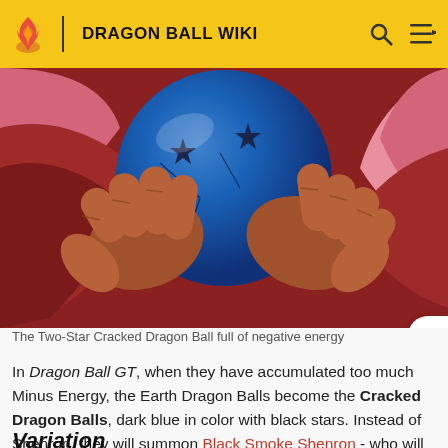DRAGON BALL WIKI
[Figure (illustration): Anime illustration of two hands holding a large dark blue dragon ball with black stars on it, against a red fabric/clothing background. The character appears to be from Dragon Ball GT.]
The Two-Star Cracked Dragon Ball full of negative energy
In Dragon Ball GT, when they have accumulated too much Minus Energy, the Earth Dragon Balls become the Cracked Dragon Balls, dark blue in color with black stars. Instead of Shenron, they will summon Black Smoke Shenron - who will not grant wishes but rather unleash the seven Shadow Dragons.
Variation